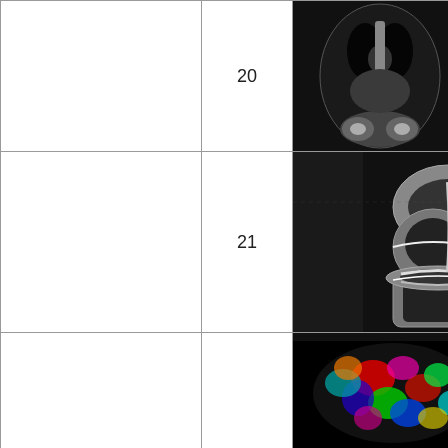[Figure (photo): Row 20: Left blank column; center cell with number 20; right cell showing CT scan coronal view of torso (grayscale) alongside a PET/SPECT false-color heatmap of the same body, with red, purple, green, yellow colors on orange/red background]
[Figure (photo): Row 21: Left blank column; center cell with number 21; right cell showing MRI grayscale sagittal view of a knee joint with bone and cartilage structures visible on black background]
[Figure (photo): Row 22 (partial): Left blank column; center cell (no number visible); right cell showing a 3D color mapping/DTI-style image of a brain or organ structure with multicolor (red, green, blue, teal, pink) blobs on black background]